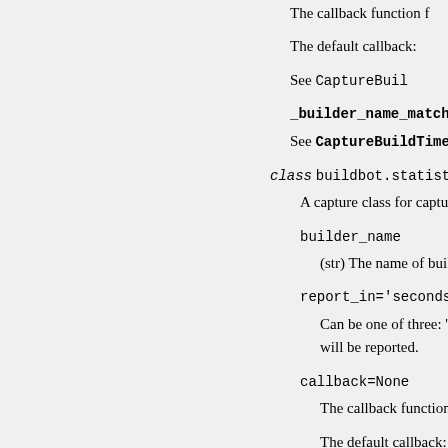The callback function f
The default callback:
See CaptureBuil
_builder_name_matches
See CaptureBuildTime
class buildbot.statistics.cap
A capture class for capturin
builder_name
(str) The name of builo
report_in='seconds'
Can be one of three: '
will be reported.
callback=None
The callback function f
The default callback: